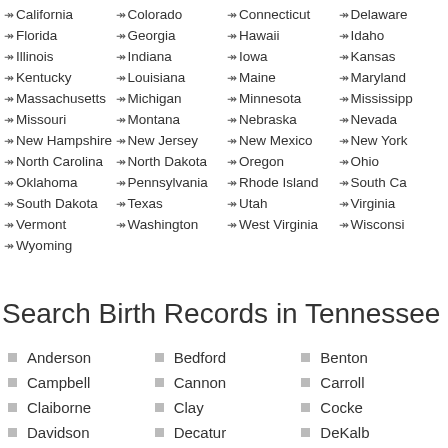California
Colorado
Connecticut
Delaware
Florida
Georgia
Hawaii
Idaho
Illinois
Indiana
Iowa
Kansas
Kentucky
Louisiana
Maine
Maryland
Massachusetts
Michigan
Minnesota
Mississippi
Missouri
Montana
Nebraska
Nevada
New Hampshire
New Jersey
New Mexico
New York
North Carolina
North Dakota
Oregon
Ohio
Oklahoma
Pennsylvania
Rhode Island
South Carolina
South Dakota
Texas
Utah
Virginia
Vermont
Washington
West Virginia
Wisconsin
Wyoming
Search Birth Records in Tennessee Cou
Anderson
Bedford
Benton
Campbell
Cannon
Carroll
Claiborne
Clay
Cocke
Davidson
Decatur
DeKalb
Fentress
Franklin
Gibson